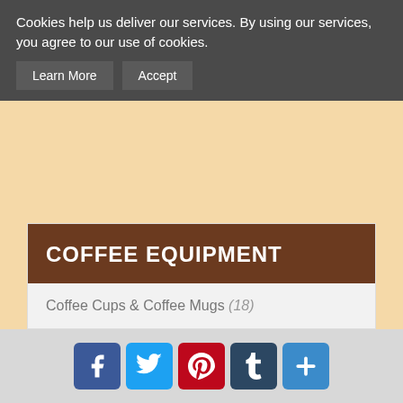Cookies help us deliver our services. By using our services, you agree to our use of cookies.
Learn More
Accept
COFFEE EQUIPMENT
Coffee Cups & Coffee Mugs (18)
Coffee Bean Grinders (11)
Coffee Percolators (11)
Coffee Roasters (3)
Espresso Combo Machines (4)
Espresso Machines (6)
[Figure (infographic): Social media sharing icons: Facebook, Twitter, Pinterest, Tumblr, and a plus/more button]